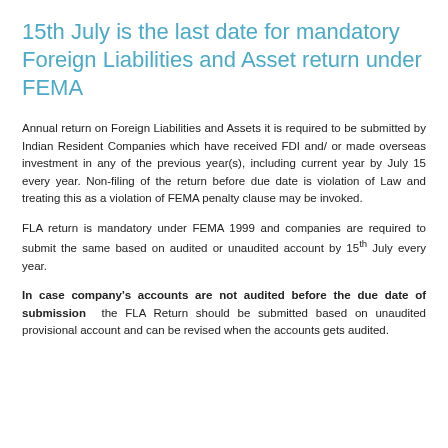15th July is the last date for mandatory Foreign Liabilities and Asset return under FEMA
Annual return on Foreign Liabilities and Assets it is required to be submitted by Indian Resident Companies which have received FDI and/ or made overseas investment in any of the previous year(s), including current year by July 15 every year. Non-filing of the return before due date is violation of Law and treating this as a violation of FEMA penalty clause may be invoked.
FLA return is mandatory under FEMA 1999 and companies are required to submit the same based on audited or unaudited account by 15th July every year.
In case company’s accounts are not audited before the due date of submission  the FLA Return should be submitted based on unaudited provisional account and can be revised when the accounts gets audited.